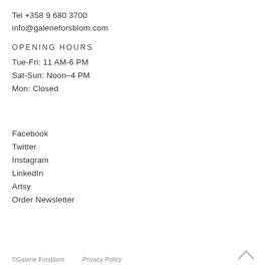Tel +358 9 680 3700
info@galerieforsblom.com
OPENING HOURS
Tue-Fri: 11 AM-6 PM
Sat-Sun: Noon–4 PM
Mon: Closed
Facebook
Twitter
Instagram
LinkedIn
Artsy
Order Newsletter
©Galerie Forsblom   Privacy Policy